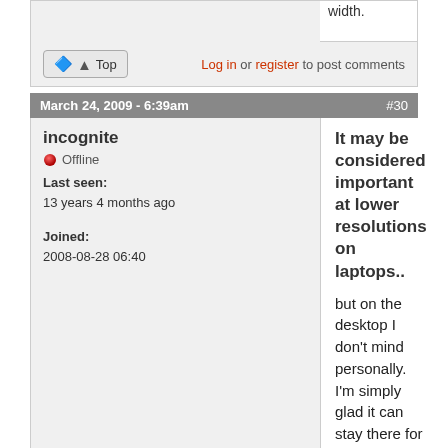width.
Log in or register to post comments
March 24, 2009 - 6:39am  #30
incognite
Offline
Last seen: 13 years 4 months ago
Joined: 2008-08-28 06:40
It may be considered important at lower resolutions on laptops..
but on the desktop I don't mind personally. I'm simply glad it can stay there for as long as needed. Supposedly it was meant to be able to do this under the older version, however I could not get it to work so was annoyed by all the clicking but it's better now.

I think it would be good to be able to pull it to size, ie via a footplate but that would kinda ruin the look of it I reckon so maybe not a good idea.

Basically as Bruce said, something